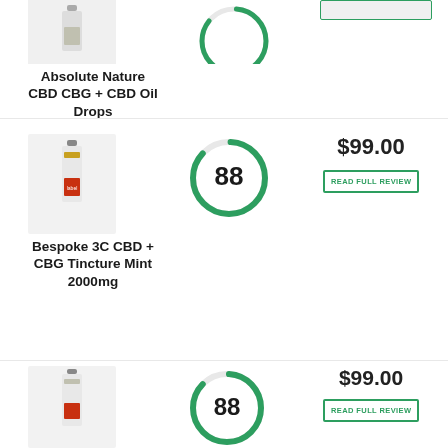[Figure (photo): Product photo of Absolute Nature CBD CBG + CBD Oil Drops bottle, small glass bottle on white background]
Absolute Nature CBD CBG + CBD Oil Drops
[Figure (other): Circular score gauge showing score in green, partially complete arc]
[Figure (photo): Product photo of Bespoke 3C CBD + CBG Tincture Mint 2000mg, small dropper bottle with orange/red label]
Bespoke 3C CBD + CBG Tincture Mint 2000mg
[Figure (other): Circular score gauge showing 88 in green arc]
$99.00
READ FULL REVIEW
[Figure (photo): Product photo of third CBD product, small dropper bottle with red label on white background]
[Figure (other): Circular score gauge showing 88 in green arc]
$99.00
READ FULL REVIEW